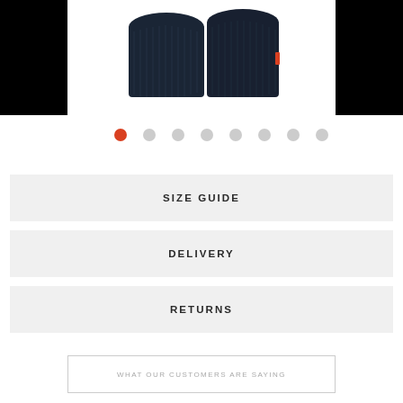[Figure (photo): Product photo of dark navy/black compression shorts or athletic wear on a white background, flanked by black panels on the left and right. A small red accent is visible on the right garment piece.]
• • • • • • • • (image carousel dots, first dot active/red)
SIZE GUIDE
DELIVERY
RETURNS
WHAT OUR CUSTOMERS ARE SAYING